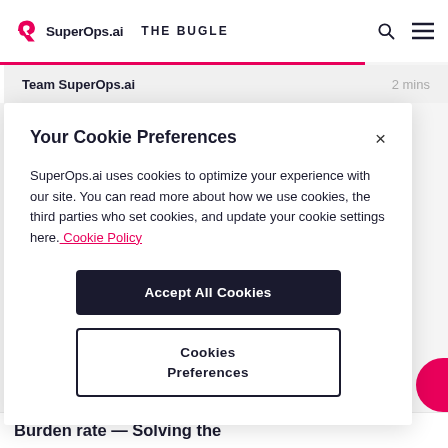SuperOps.ai  THE BUGLE
Team SuperOps.ai  2 mins
Your Cookie Preferences
SuperOps.ai uses cookies to optimize your experience with our site. You can read more about how we use cookies, the third parties who set cookies, and update your cookie settings here. Cookie Policy
Accept All Cookies
Cookies Preferences
Burden rate — Solving the